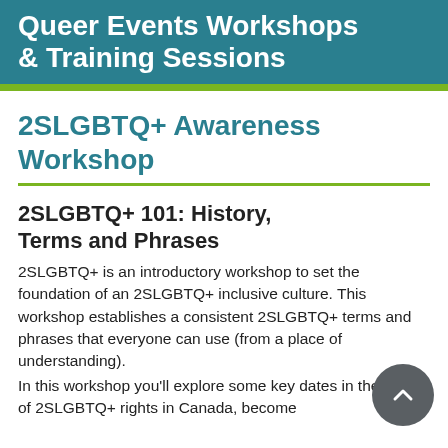Queer Events Workshops & Training Sessions
2SLGBTQ+ Awareness Workshop
2SLGBTQ+ 101: History, Terms and Phrases
2SLGBTQ+ is an introductory workshop to set the foundation of an 2SLGBTQ+ inclusive culture. This workshop establishes a consistent 2SLGBTQ+ terms and phrases that everyone can use (from a place of understanding).
In this workshop you'll explore some key dates in the history of 2SLGBTQ+ rights in Canada, become